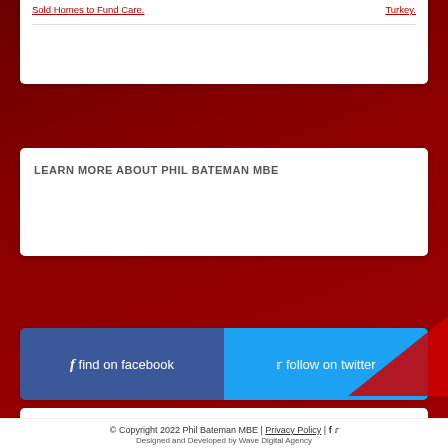Sold Homes to Fund Care. | Turkey.
LEARN MORE ABOUT PHIL BATEMAN MBE
find on facebook
follow on twitter
Councillor Phil Bateman MBE -Wednesfield North (Labour Party)
© Copyright 2022 Phil Bateman MBE | Privacy Policy | Designed and Developed by Wave Digital Agency